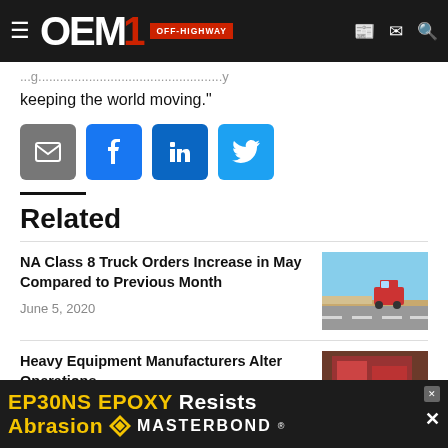OEM Off-Highway
keeping the world moving."
[Figure (other): Social share buttons: email, Facebook, LinkedIn, Twitter]
Related
NA Class 8 Truck Orders Increase in May Compared to Previous Month
June 5, 2020
Heavy Equipment Manufacturers Alter Operations...
March 3...
[Figure (other): Advertisement banner: EP30NS EPOXY Resists Abrasion - MasterBond]